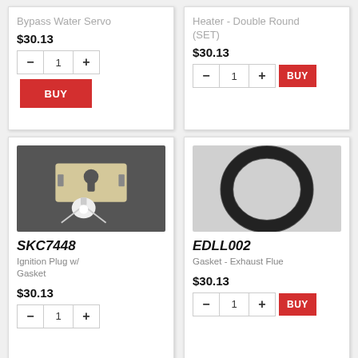[Figure (other): Top portion of product card - Bypass Water Servo, price $30.13 with quantity selector and BUY button]
[Figure (other): Top portion of product card - Heater Double Round (SET), price $30.13 with quantity selector and BUY button]
[Figure (photo): Ignition plug with gasket hardware components on dark background]
SKC7448
Ignition Plug w/ Gasket
$30.13
[Figure (photo): Black rubber O-ring gasket on light gray background]
EDLL002
Gasket - Exhaust Flue
$30.13